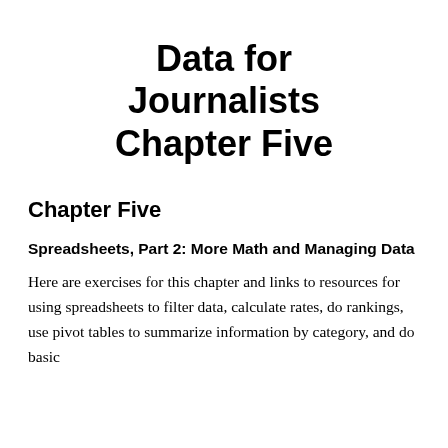Data for Journalists Chapter Five
Chapter Five
Spreadsheets, Part 2: More Math and Managing Data
Here are exercises for this chapter and links to resources for using spreadsheets to filter data, calculate rates, do rankings, use pivot tables to summarize information by category, and do basic